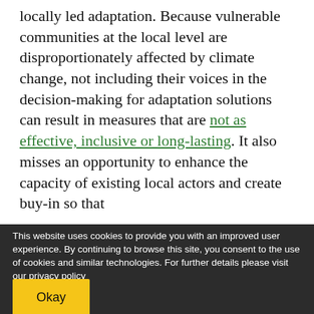locally led adaptation. Because vulnerable communities at the local level are disproportionately affected by climate change, not including their voices in the decision-making for adaptation solutions can result in measures that are not as effective, inclusive or long-lasting. It also misses an opportunity to enhance the capacity of existing local actors and create buy-in so that efforts will endure over time.
This website uses cookies to provide you with an improved user experience. By continuing to browse this site, you consent to the use of cookies and similar technologies. For further details please visit our privacy policy